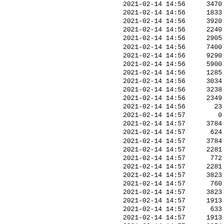| datetime | value |
| --- | --- |
| 2021-02-14 14:56 | 3470 |
| 2021-02-14 14:56 | 1833 |
| 2021-02-14 14:56 | 3920 |
| 2021-02-14 14:56 | 2240 |
| 2021-02-14 14:56 | 2905 |
| 2021-02-14 14:56 | 7400 |
| 2021-02-14 14:56 | 9290 |
| 2021-02-14 14:56 | 5900 |
| 2021-02-14 14:56 | 1285 |
| 2021-02-14 14:56 | 3034 |
| 2021-02-14 14:56 | 3238 |
| 2021-02-14 14:56 | 2349 |
| 2021-02-14 14:56 | 23 |
| 2021-02-14 14:57 | 0 |
| 2021-02-14 14:57 | 3784 |
| 2021-02-14 14:57 | 624 |
| 2021-02-14 14:57 | 3784 |
| 2021-02-14 14:57 | 2281 |
| 2021-02-14 14:57 | 772 |
| 2021-02-14 14:57 | 2281 |
| 2021-02-14 14:57 | 3823 |
| 2021-02-14 14:57 | 760 |
| 2021-02-14 14:57 | 3823 |
| 2021-02-14 14:57 | 1913 |
| 2021-02-14 14:57 | 633 |
| 2021-02-14 14:57 | 1913 |
| 2021-02-14 14:57 | 2254 |
| 2021-02-14 14:57 | 683 |
| 2021-02-14 14:57 | 2254 |
| 2021-02-14 14:57 | 1930 |
| 2021-02-14 14:57 | ... |